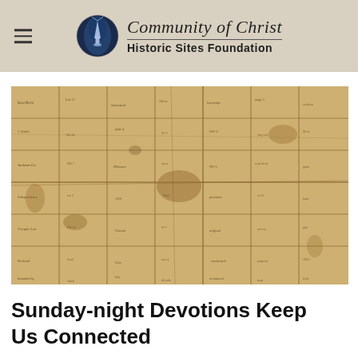Community of Christ Historic Sites Foundation
[Figure (photo): An aged, yellowed historical map or document showing a grid of land parcels with handwritten text, creased and worn.]
Sunday-night Devotions Keep Us Connected